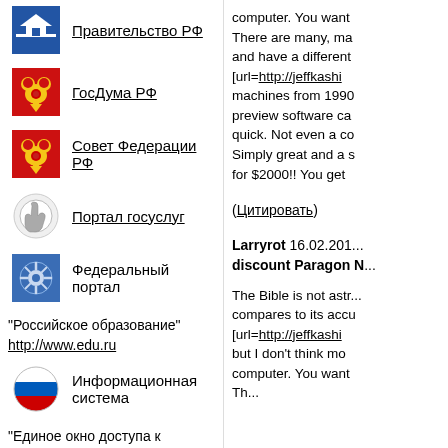Правительство РФ
ГосДума РФ
Совет Федерации РФ
Портал госуслуг
Федеральный портал
"Российское образование" http://www.edu.ru
Информационная система
"Единое окно доступа к образовательным ресурсам" http://window.edu.ru
computer. You want... There are many, ma... and have a different... [url=http://jeffkashi... machines from 1990... preview software ca... quick. Not even a co... Simply great and a s... for $2000!! You get...
(Цитировать)
Larryrot 16.02.201... discount Paragon N...
The Bible is not astr... compares to its accu... [url=http://jeffkashi... but I don't think mo... computer. You want... Th...